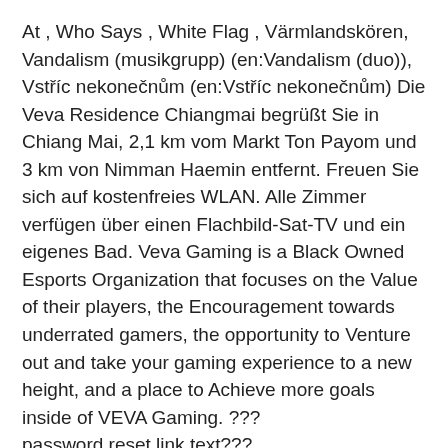At , Who Says , White Flag , Värmlandskören, Vandalism (musikgrupp) (en:Vandalism (duo)), Vstříc nekonečnům (en:Vstříc nekonečnům) Die Veva Residence Chiangmai begrüßt Sie in Chiang Mai, 2,1 km vom Markt Ton Payom und 3 km von Nimman Haemin entfernt. Freuen Sie sich auf kostenfreies WLAN. Alle Zimmer verfügen über einen Flachbild-Sat-TV und ein eigenes Bad. Veva Gaming is a Black Owned Esports Organization that focuses on the Value of their players, the Encouragement towards underrated gamers, the opportunity to Venture out and take your gaming experience to a new height, and a place to Achieve more goals inside of VEVA Gaming. ??? password.reset.link.text???
1. Vanersborg jobb